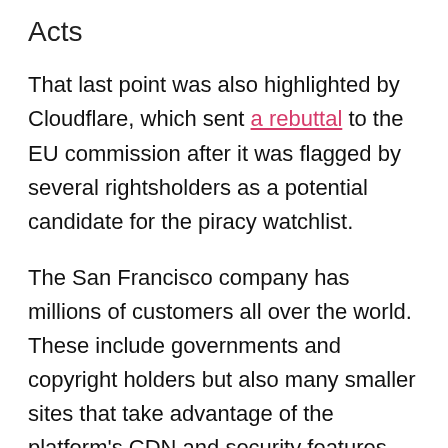Acts
That last point was also highlighted by Cloudflare, which sent a rebuttal to the EU commission after it was flagged by several rightsholders as a potential candidate for the piracy watchlist.
The San Francisco company has millions of customers all over the world. These include governments and copyright holders but also many smaller sites that take advantage of the platform's CDN and security features.
In its rebuttal, Cloudflare supports the watchlist initiative. However, it urges the EU to keep the listed sites and services limited to those that actually